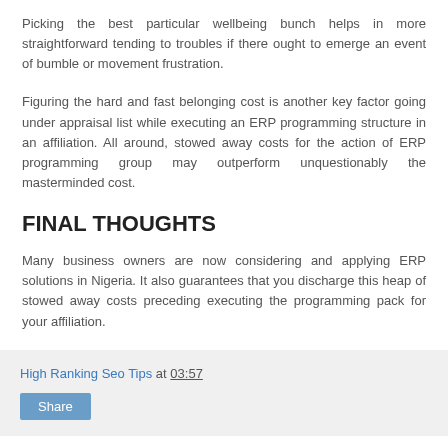Picking the best particular wellbeing bunch helps in more straightforward tending to troubles if there ought to emerge an event of bumble or movement frustration.
Figuring the hard and fast belonging cost is another key factor going under appraisal list while executing an ERP programming structure in an affiliation. All around, stowed away costs for the action of ERP programming group may outperform unquestionably the masterminded cost.
FINAL THOUGHTS
Many business owners are now considering and applying ERP solutions in Nigeria. It also guarantees that you discharge this heap of stowed away costs preceding executing the programming pack for your affiliation.
High Ranking Seo Tips at 03:57 Share